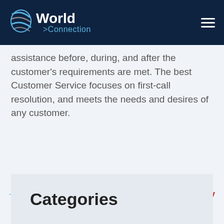[Figure (logo): World Connection logo with globe icon and name in white/blue on dark navy header]
assistance before, during, and after the customer's requirements are met. The best Customer Service focuses on first-call resolution, and meets the needs and desires of any customer.
On Key
Categories